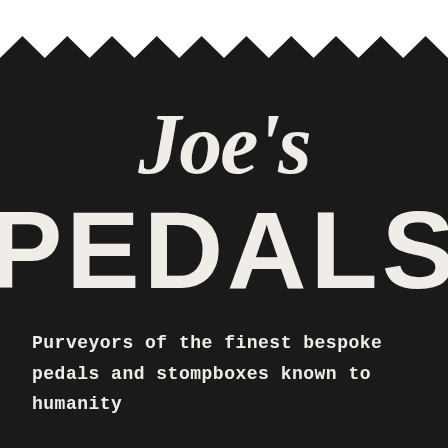[Figure (logo): Joe's Pedals logo on a dark background with zigzag/sawtooth top edge. Script lettering reads "Joe's" above large bold block letters "PEDALS". Tagline below reads "Purveyors of the finest bespoke pedals and stompboxes known to humanity".]
Joe's PEDALS
Purveyors of the finest bespoke pedals and stompboxes known to humanity